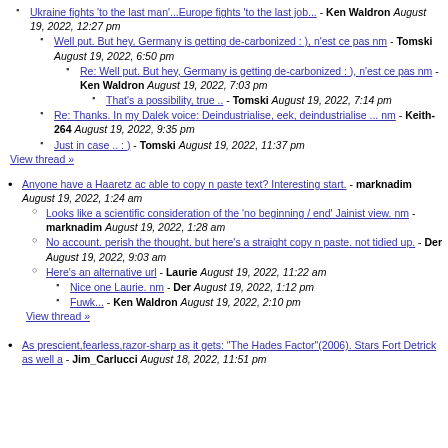Ukraine fights 'to the last man'...Europe fights 'to the last job... - Ken Waldron August 19, 2022, 12:27 pm
Well put. But hey, Germany is getting de-carbonized : ), n'est ce pas nm - Tomski August 19, 2022, 6:50 pm
Re: Well put. But hey, Germany is getting de-carbonized : ), n'est ce pas nm - Ken Waldron August 19, 2022, 7:03 pm
That's a possibility, true .. - Tomski August 19, 2022, 7:14 pm
Re: Thanks. In my Dalek voice: Deindustrialise, eek, deindustrialise ... nm - Keith-264 August 19, 2022, 9:35 pm
Just in case .. : ) - Tomski August 19, 2022, 11:37 pm
View thread »
Anyone have a Haaretz ac able to copy n paste text? Interesting start. - marknadim August 19, 2022, 1:24 am
Looks like a scientific consideration of the 'no beginning / end' Jainist view. nm - marknadim August 19, 2022, 1:28 am
No account. perish the thought. but here's a straight copy n paste. not tidied up. - Der August 19, 2022, 9:03 am
Here's an alternative url - Laurie August 19, 2022, 11:22 am
Nice one Laurie. nm - Der August 19, 2022, 1:12 pm
Fuwk... - Ken Waldron August 19, 2022, 2:10 pm
View thread »
As prescient,fearless,razor-sharp as it gets: "The Hades Factor"(2006). Stars Fort Detrick as well a - Jim_Carlucci August 18, 2022, 11:51 pm